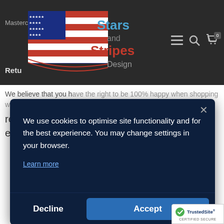[Figure (logo): Stars and Stripes Design logo with American flag graphic and text 'Stars and Stripes Design' in blue and red]
Mastercard
Retu
We believe that you have the right to be 100% happy when shopping with us. Therefore we accept the returns for nearly all products with some exceptions.
We use cookies to optimise site functionality and for the best experience. You may change settings in your browser.
Learn more
Decline
Accept
[Figure (logo): TrustedSite Certified Secure badge]